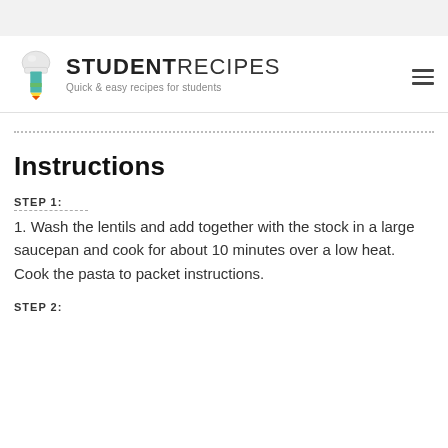STUDENTRECIPES — Quick & easy recipes for students
Instructions
STEP 1:
1. Wash the lentils and add together with the stock in a large saucepan and cook for about 10 minutes over a low heat. Cook the pasta to packet instructions.
STEP 2: